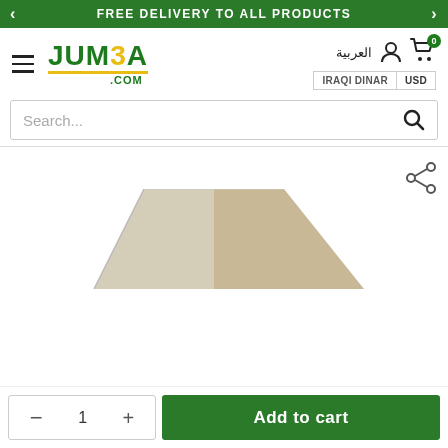FREE DELIVERY TO ALL PRODUCTS
[Figure (logo): JUM3A.COM logo in green with yellow accent on the number 3 and underline]
العربية
IRAQI DINAR  USD
Search...
[Figure (screenshot): Share icon (network nodes) in top right of product area]
[Figure (photo): Product image partially visible at bottom of product area — appears to be a wedge-shaped item in beige/tan color]
− 1 +
Add to cart